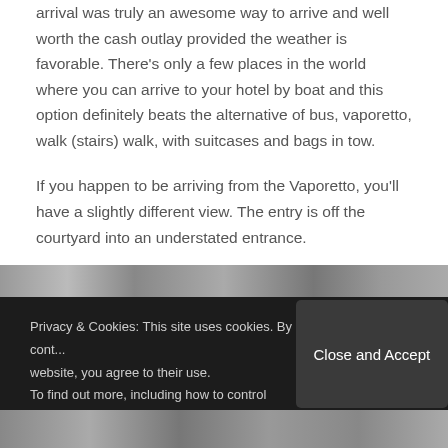arrival was truly an awesome way to arrive and well worth the cash outlay provided the weather is favorable. There's only a few places in the world where you can arrive to your hotel by boat and this option definitely beats the alternative of bus, vaporetto, walk (stairs) walk, with suitcases and bags in tow.
If you happen to be arriving from the Vaporetto, you'll have a slightly different view. The entry is off the courtyard into an understated entrance.
[Figure (photo): Horizontal photo strip partially visible at the top of the cookie overlay banner]
Privacy & Cookies: This site uses cookies. By cont... website, you agree to their use.
To find out more, including how to control cookies...
Close and Accept
[Figure (photo): Partial photo strip visible at the bottom of the page]